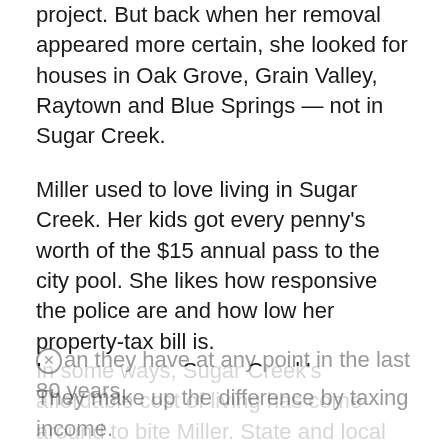project. But back when her removal appeared more certain, she looked for houses in Oak Grove, Grain Valley, Raytown and Blue Springs — not in Sugar Creek.
Miller used to love living in Sugar Creek. Her kids got every penny's worth of the $15 annual pass to the city pool. She likes how responsive the police are and how low her property-tax bill is.
In some ways, Sugar Creek's affordable cost of living has come around to bite Miller. State and local governments rely less on property taxes
an they have at any point in the last 80 years. They make up the difference by taxing income.